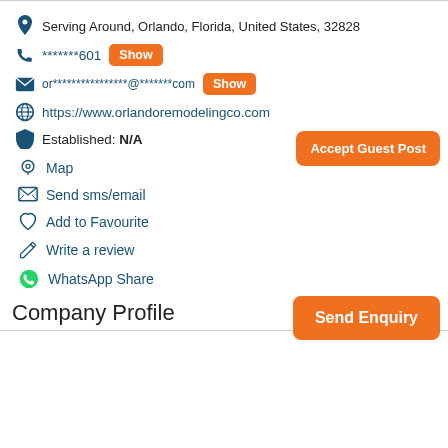Serving Around, Orlando, Florida, United States, 32828
*******601  Show
or****************@*******com  Show
https://www.orlandoremodelingco.com
Established: N/A
Accept Guest Post
Map
Send sms/email
Add to Favourite
Write a review
WhatsApp Share
Send Enquiry
Company Profile